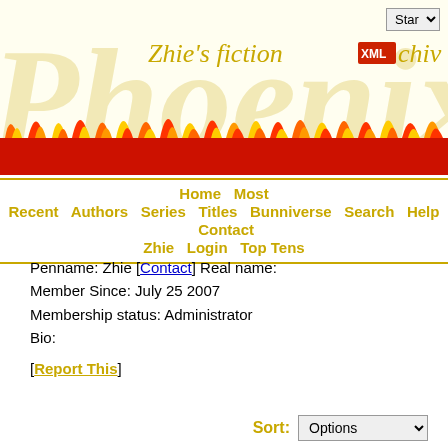[Figure (illustration): Phoenix fiction archive website banner with large italic golden 'Phoenix' text and flame graphics at the bottom, 'Zhie's fiction archive' text in italic, XML badge, and a 'Star' dropdown selector in top right.]
Home  Most Recent  Authors  Series  Titles  Bunniverse  Search  Help  Contact Zhie  Login  Top Tens
Penname: Zhie [Contact] Real name:
Member Since: July 25 2007
Membership status: Administrator
Bio:
[Report This]
Sort: Options